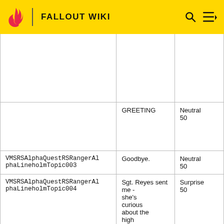FALLOUT WIKI
| Topic ID | Prompt/Type | Mood/Value |
| --- | --- | --- |
|  |  |  |
|  | GREETING | Neutral
50 |
| VMSRSAlphaQuestRSRangerAlphaLineholmTopic003 | Goodbye. | Neutral
50 |
| VMSRSAlphaQuestRSRangerAlphaLineholmTopic004 | Sgt. Reyes sent me - she's curious about the high casualties | Surprise
50 |